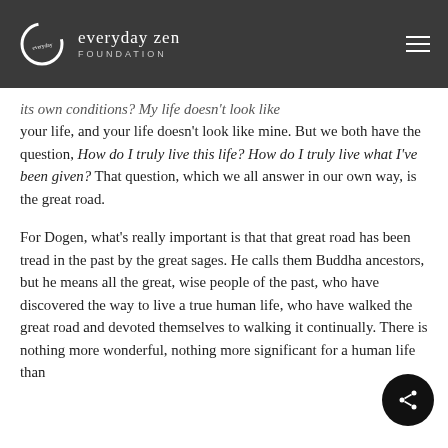everyday zen FOUNDATION
its own conditions? My life doesn't look like your life, and your life doesn't look like mine. But we both have the question, How do I truly live this life? How do I truly live what I've been given? That question, which we all answer in our own way, is the great road.
For Dogen, what's really important is that that great road has been tread in the past by the great sages. He calls them Buddha ancestors, but he means all the great, wise people of the past, who have discovered the way to live a true human life, who have walked the great road and devoted themselves to walking it continually. There is nothing more wonderful, nothing more significant for a human life than